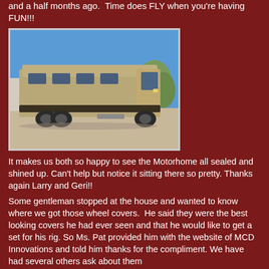and a half months ago.  Time does FLY when you're having FUN!!!
[Figure (photo): A large motorhome/RV parked in a gravel driveway with blue sky and trees in the background. The RV is tan/gold colored with dark accent graphics along the side.]
It makes us both so happy to see the Motorhome all sealed and shined up. Can’t help but notice it sitting there so pretty. Thanks again Larry and Geri!!
Some gentleman stopped at the house and wanted to know where we got those wheel covers.  He said they were the best looking covers he had ever seen and that he would like to get a set for his rig. So Ms. Pat provided him with the website of MCD Innovations and told him thanks for the compliment. We have had several others ask about them